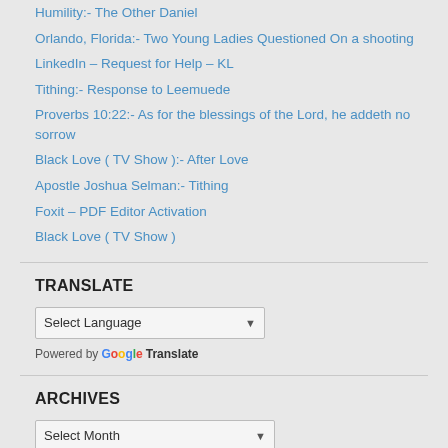Humility:- The Other Daniel
Orlando, Florida:- Two Young Ladies Questioned On a shooting
LinkedIn – Request for Help – KL
Tithing:- Response to Leemuede
Proverbs 10:22:- As for the blessings of the Lord, he addeth no sorrow
Black Love ( TV Show ):- After Love
Apostle Joshua Selman:- Tithing
Foxit – PDF Editor Activation
Black Love ( TV Show )
TRANSLATE
Select Language
Powered by Google Translate
ARCHIVES
Select Month